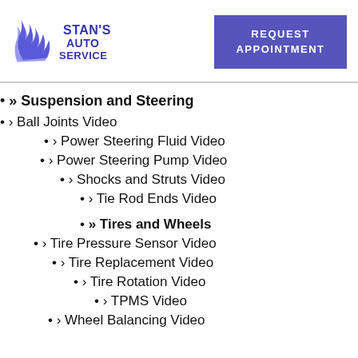[Figure (logo): Stan's Auto Service logo with flame design and blue text]
» Suspension and Steering
› Ball Joints Video
› Power Steering Fluid Video
› Power Steering Pump Video
› Shocks and Struts Video
› Tie Rod Ends Video
» Tires and Wheels
› Tire Pressure Sensor Video
› Tire Replacement Video
› Tire Rotation Video
› TPMS Video
› Wheel Balancing Video
› Wheel Bearing Video